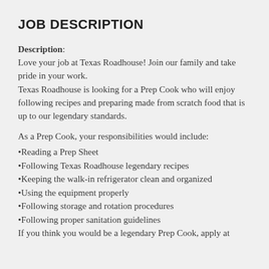JOB DESCRIPTION
Description: Love your job at Texas Roadhouse! Join our family and take pride in your work.
Texas Roadhouse is looking for a Prep Cook who will enjoy following recipes and preparing made from scratch food that is up to our legendary standards.
As a Prep Cook, your responsibilities would include:
•Reading a Prep Sheet
•Following Texas Roadhouse legendary recipes
•Keeping the walk-in refrigerator clean and organized
•Using the equipment properly
•Following storage and rotation procedures
•Following proper sanitation guidelines
If you think you would be a legendary Prep Cook, apply at